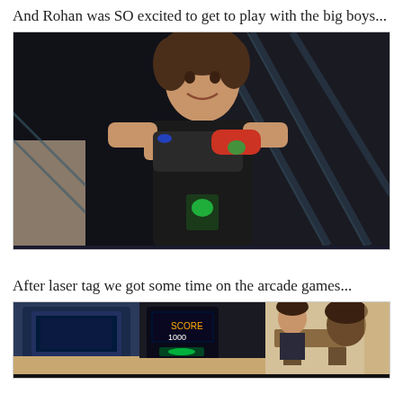And Rohan was SO excited to get to play with the big boys...
[Figure (photo): Young boy smiling and holding a laser tag gun/vest equipment in a dark laser tag arena with diagonal stripe decorations on the walls]
After laser tag we got some time on the arcade games...
[Figure (photo): Partial view of arcade games area showing arcade machines and a child sitting at one of them]